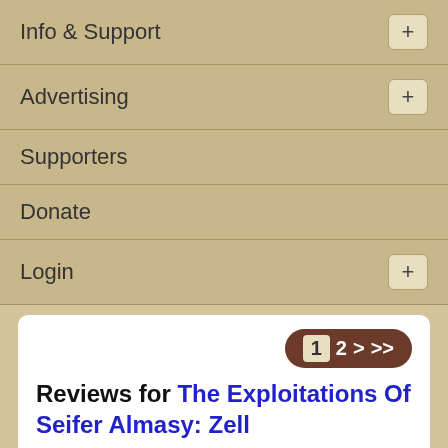Info & Support
Advertising
Supporters
Donate
Login
Reviews for The Exploitations Of Seifer Almasy: Zell
BY : QueenAdreena
From SapphireMyRose on July 26, 2009